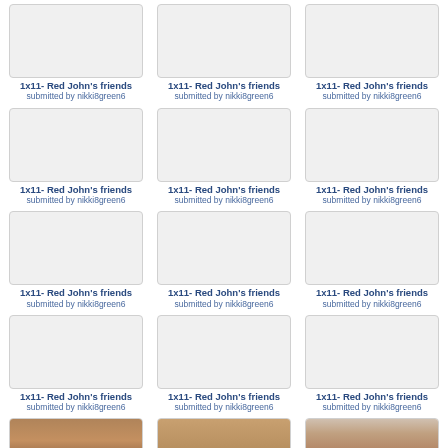[Figure (photo): Blank thumbnail placeholder]
1x11- Red John's friends
submitted by nikki8green6
[Figure (photo): Blank thumbnail placeholder]
1x11- Red John's friends
submitted by nikki8green6
[Figure (photo): Blank thumbnail placeholder]
1x11- Red John's friends
submitted by nikki8green6
[Figure (photo): Blank thumbnail placeholder]
1x11- Red John's friends
submitted by nikki8green6
[Figure (photo): Blank thumbnail placeholder]
1x11- Red John's friends
submitted by nikki8green6
[Figure (photo): Blank thumbnail placeholder]
1x11- Red John's friends
submitted by nikki8green6
[Figure (photo): Blank thumbnail placeholder]
1x11- Red John's friends
submitted by nikki8green6
[Figure (photo): Blank thumbnail placeholder]
1x11- Red John's friends
submitted by nikki8green6
[Figure (photo): Blank thumbnail placeholder]
1x11- Red John's friends
submitted by nikki8green6
[Figure (photo): Photo of wooden dresser]
1x11- Red John's friends
submitted by nikki8green6
[Figure (photo): Photo of wooden dresser]
1x11- Red John's friends
submitted by nikki8green6
[Figure (photo): Photo of room with object]
1x11- Red John's friends
submitted by nikki8green6